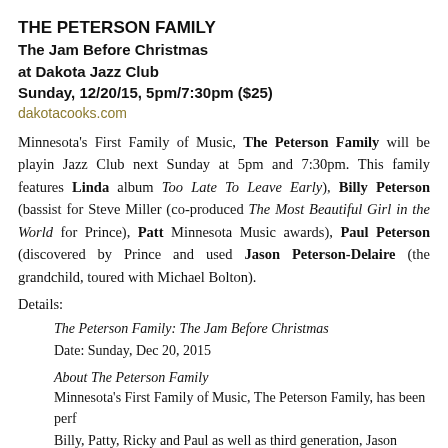THE PETERSON FAMILY
The Jam Before Christmas
at Dakota Jazz Club
Sunday, 12/20/15, 5pm/7:30pm ($25)
dakotacooks.com
Minnesota's First Family of Music, The Peterson Family will be playing at Dakota Jazz Club next Sunday at 5pm and 7:30pm. This family features Linda (album Too Late To Leave Early), Billy Peterson (bassist for Steve Miller), (co-produced The Most Beautiful Girl in the World for Prince), Patt (Minnesota Music awards), Paul Peterson (discovered by Prince and used), Jason Peterson-Delaire (the grandchild, toured with Michael Bolton).
Details:
The Peterson Family: The Jam Before Christmas
Date: Sunday, Dec 20, 2015
About The Peterson Family
Minnesota's First Family of Music, The Peterson Family, has been perf Billy, Patty, Ricky and Paul as well as third generation, Jason Peterson